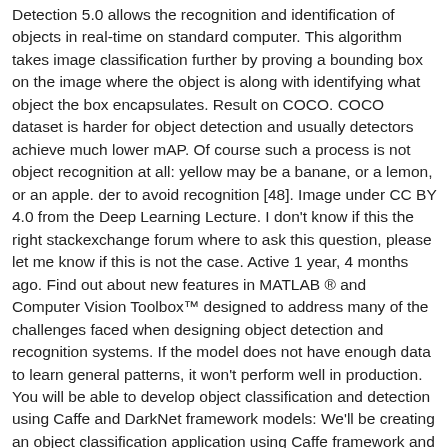Detection 5.0 allows the recognition and identification of objects in real-time on standard computer. This algorithm takes image classification further by proving a bounding box on the image where the object is along with identifying what object the box encapsulates. Result on COCO. COCO dataset is harder for object detection and usually detectors achieve much lower mAP. Of course such a process is not object recognition at all: yellow may be a banane, or a lemon, or an apple. der to avoid recognition [48]. Image under CC BY 4.0 from the Deep Learning Lecture. I don't know if this the right stackexchange forum where to ask this question, please let me know if this is not the case. Active 1 year, 4 months ago. Find out about new features in MATLAB ® and Computer Vision Toolbox™ designed to address many of the challenges faced when designing object detection and recognition systems. If the model does not have enough data to learn general patterns, it won't perform well in production. You will be able to develop object classification and detection using Caffe and DarkNet framework models: We'll be creating an object classification application using Caffe framework and GoogleNet base's framework that can distinguish between 1000 objects. Anything not binary is then object classification or object recognition (e.g. Detection (left) and segmentation (right). ... How do I use reddit Tensorflow Object Detection API Gradient ...